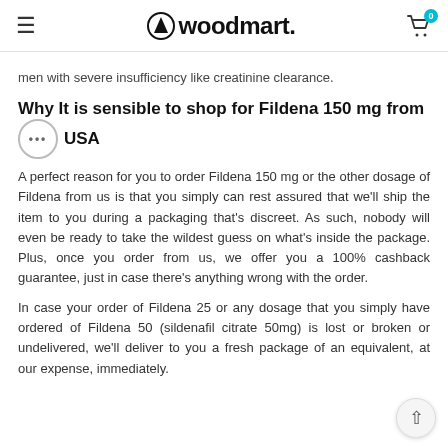woodmart.
men with severe insufficiency like creatinine clearance.
Why It is sensible to shop for Fildena 150 mg from USA
A perfect reason for you to order Fildena 150 mg or the other dosage of Fildena from us is that you simply can rest assured that we'll ship the item to you during a packaging that's discreet. As such, nobody will even be ready to take the wildest guess on what's inside the package. Plus, once you order from us, we offer you a 100% cashback guarantee, just in case there's anything wrong with the order.
In case your order of Fildena 25 or any dosage that you simply have ordered of Fildena 50 (sildenafil citrate 50mg) is lost or broken or undelivered, we'll deliver to you a fresh package of an equivalent, at our expense, immediately.